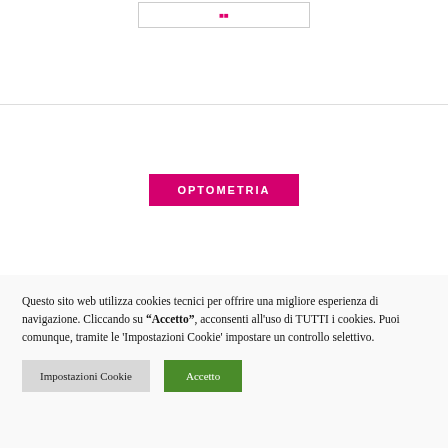[Figure (other): Small pink/magenta text or logo inside a bordered box at the top of the page]
OPTOMETRIA
Questo sito web utilizza cookies tecnici per offrire una migliore esperienza di navigazione. Cliccando su “Accetto”, acconsenti all'uso di TUTTI i cookies. Puoi comunque, tramite le 'Impostazioni Cookie' impostare un controllo selettivo.
Impostazioni Cookie
Accetto